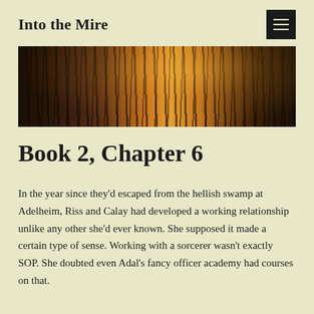Into the Mire
[Figure (photo): Forest scene with tall dark trees backlit by warm golden-orange sunlight filtering through the canopy]
Book 2, Chapter 6
In the year since they'd escaped from the hellish swamp at Adelheim, Riss and Calay had developed a working relationship unlike any other she'd ever known. She supposed it made a certain type of sense. Working with a sorcerer wasn't exactly SOP. She doubted even Adal's fancy officer academy had courses on that.